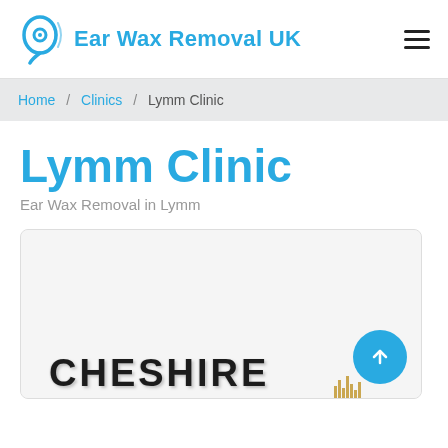Ear Wax Removal UK
Home / Clinics / Lymm Clinic
Lymm Clinic
Ear Wax Removal in Lymm
[Figure (map): A map image showing the Cheshire region with the label CHESHIRE and map detail elements visible at the bottom of the card.]